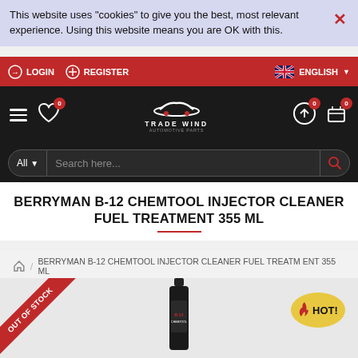This website uses "cookies" to give you the best, most relevant experience. Using this website means you are OK with this.
LOGIN   REGISTER   ENGLISH
TRADE WIND
BERRYMAN B-12 CHEMTOOL INJECTOR CLEANER FUEL TREATMENT 355 ML
BERRYMAN B-12 CHEMTOOL INJECTOR CLEANER FUEL TREATMENT 355 ML
[Figure (screenshot): Product page screenshot showing out of stock ribbon and HOT badge on product image area]